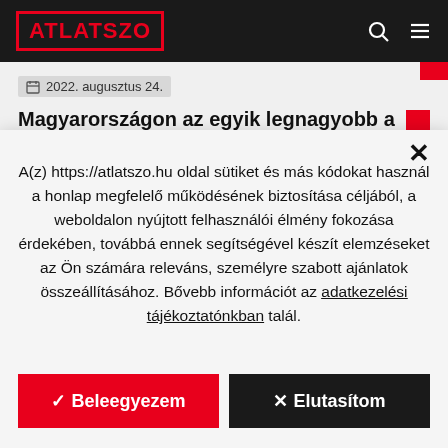ATLATSZO
2022. augusztus 24.
Magyarországon az egyik legnagyobb a
A(z) https://atlatszo.hu oldal sütiket és más kódokat használ a honlap megfelelő működésének biztosítása céljából, a weboldalon nyújtott felhasználói élmény fokozása érdekében, továbbá ennek segítségével készít elemzéseket az Ön számára releváns, személyre szabott ajánlatok összeállításához. Bővebb információt az adatkezelési tájékoztatónkban talál.
✓ Beleegyezem
✕ Elutasítom